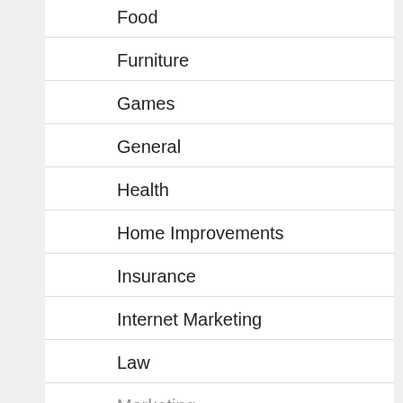Food
Furniture
Games
General
Health
Home Improvements
Insurance
Internet Marketing
Law
Marketing